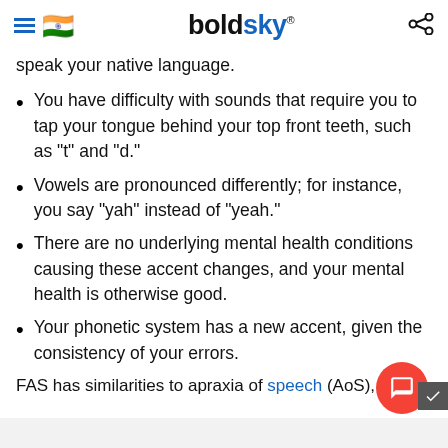boldsky
speak your native language.
You have difficulty with sounds that require you to tap your tongue behind your top front teeth, such as "t" and "d."
Vowels are pronounced differently; for instance, you say "yah" instead of "yeah."
There are no underlying mental health conditions causing these accent changes, and your mental health is otherwise good.
Your phonetic system has a new accent, given the consistency of your errors.
FAS has similarities to apraxia of speech (AoS), an...